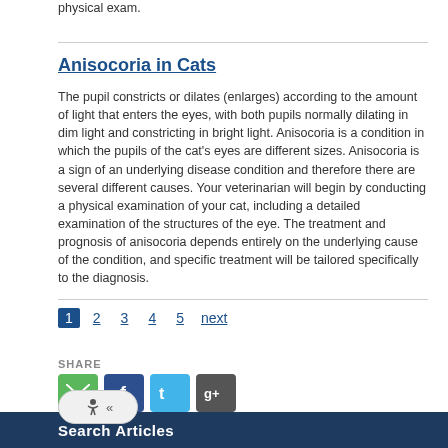physical exam.
Anisocoria in Cats
The pupil constricts or dilates (enlarges) according to the amount of light that enters the eyes, with both pupils normally dilating in dim light and constricting in bright light. Anisocoria is a condition in which the pupils of the cat's eyes are different sizes. Anisocoria is a sign of an underlying disease condition and therefore there are several different causes. Your veterinarian will begin by conducting a physical examination of your cat, including a detailed examination of the structures of the eye. The treatment and prognosis of anisocoria depends entirely on the underlying cause of the condition, and specific treatment will be tailored specifically to the diagnosis.
1 2 3 4 5 next
SHARE
[Figure (infographic): Social share icons: email (green), Facebook (dark blue), Twitter (light blue), Google+ (dark grey), and an accessibility toggle button]
Search Articles